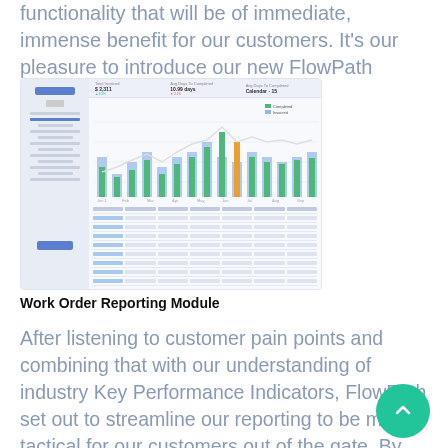functionality that will be of immediate, immense benefit for our customers. It's our pleasure to introduce our new FlowPath Insights Suite.
[Figure (screenshot): Screenshot of the FlowPath Work Order Reporting Module showing a dashboard with bar charts (blue, green, orange), a line chart overlay, and a data table below. The interface includes a sidebar navigation panel on the left and KPI summary metrics at the top.]
Work Order Reporting Module
After listening to customer pain points and combining that with our understanding of industry Key Performance Indicators, FlowPath set out to streamline our reporting to be more tactical for our customers out of the gate. By highlighting standard key metrics to target in the platform dashboard and at the same time continuing to provide customization, FlowPath is helping solve multiple problems for our customers.